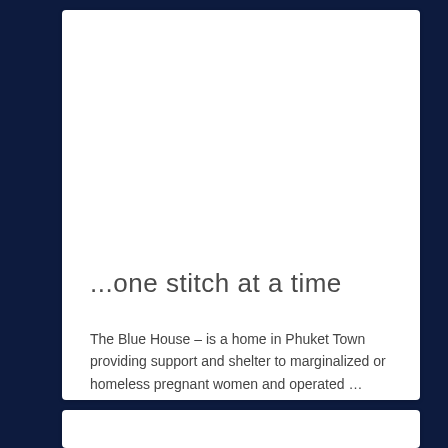...one stitch at a time
The Blue House – is a home in Phuket Town providing support and shelter to marginalized or homeless pregnant women and operated …